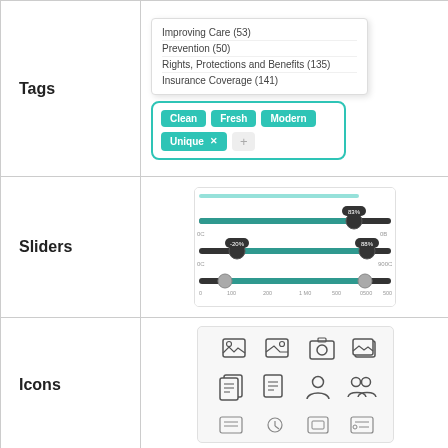Tags
[Figure (screenshot): Dropdown list showing tag options: Improving Care (53), Prevention (50), Rights, Protections and Benefits (135), Insurance Coverage (141). Below it, a tag chip selector with teal chips: Clean, Fresh, Modern, Unique (with X), and a + button.]
Sliders
[Figure (screenshot): UI component showing three horizontal range sliders with teal fill and dark track. First slider has a single handle at ~83%. Second slider shows a range between ~20% and ~88%. Third slider shows a range from 0 to ~500 on a numeric scale.]
Icons
[Figure (screenshot): Icon grid showing various UI icons in rows: image/photo icons in first row, document/user icons in second row, and more icons in third row (partially visible).]